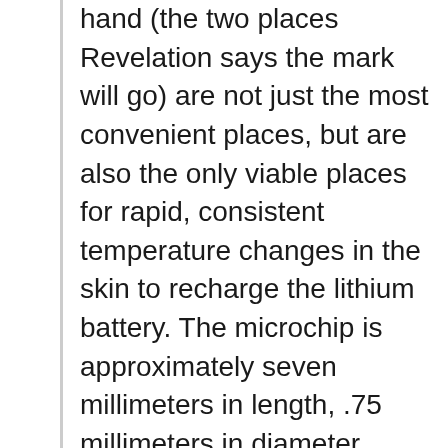hand (the two places Revelation says the mark will go) are not just the most convenient places, but are also the only viable places for rapid, consistent temperature changes in the skin to recharge the lithium battery. The microchip is approximately seven millimeters in length, .75 millimeters in diameter, about the size of a grain of rice. It is capable of storing pages upon pages of information about you. All your general history, work history, crime record, health history, and financial data can be stored on this chip.
Brother Sanders believes that this microchip, which he regretfully